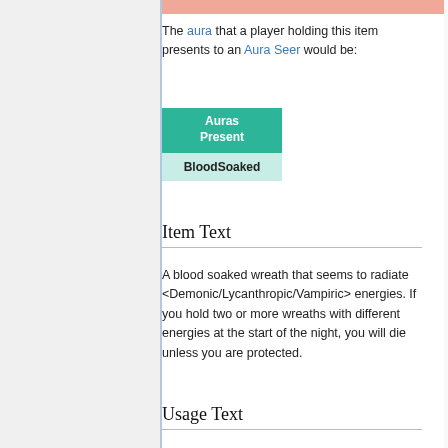The aura that a player holding this item presents to an Aura Seer would be:
| Auras Present |
| --- |
| BloodSoaked |
Item Text
A blood soaked wreath that seems to radiate <Demonic/Lycanthropic/Vampiric> energies. If you hold two or more wreaths with different energies at the start of the night, you will die unless you are protected.
Usage Text